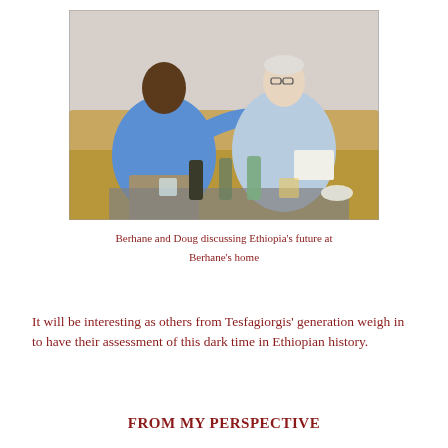[Figure (photo): Two men seated on a sofa, engaged in conversation. A table in front holds bottles and glasses. The man on the left wears a blue shirt; the man on the right wears a light blue shirt and holds papers.]
Berhane and Doug discussing Ethiopia's future at Berhane's home
It will be interesting as others from Tesfagiorgis' generation weigh in to have their assessment of this dark time in Ethiopian history.
FROM MY PERSPECTIVE